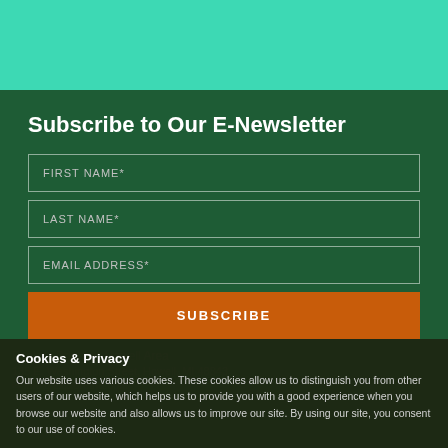[Figure (other): Teal/mint green decorative bar at top of page]
Subscribe to Our E-Newsletter
FIRST NAME*
LAST NAME*
EMAIL ADDRESS*
SUBSCRIBE
Cookies & Privacy
Our website uses various cookies. These cookies allow us to distinguish you from other users of our website, which helps us to provide you with a good experience when you browse our website and also allows us to improve our site. By using our site, you consent to our use of cookies.
Read more about the types of cookies we use
Accept
Explore Brighton-Howell Area
135 E. Washington Street, Howell, MI 48843
info@exploretha.com